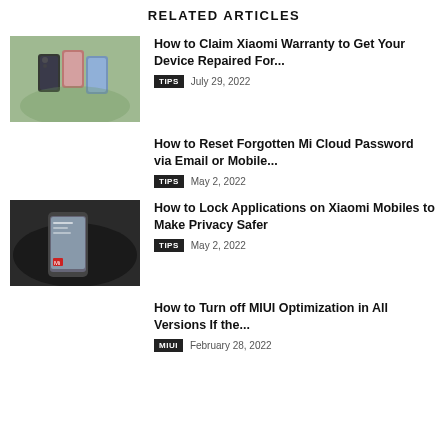RELATED ARTICLES
How to Claim Xiaomi Warranty to Get Your Device Repaired For...
How to Reset Forgotten Mi Cloud Password via Email or Mobile...
How to Lock Applications on Xiaomi Mobiles to Make Privacy Safer
How to Turn off MIUI Optimization in All Versions If the...